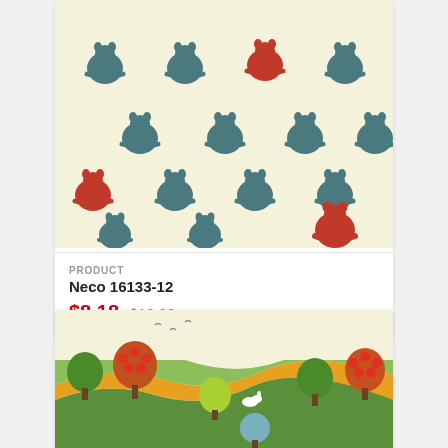[Figure (photo): Fabric pattern with teal/grey cats and occasional red cats on a cream background, repeating pattern]
PRODUCT
Neco 16133-12
$8.18 $10.90
[Figure (photo): Fabric pattern with a pastoral countryside scene featuring rolling hills, trees, and animals in greens, yellows, oranges, and reds on a cream background]